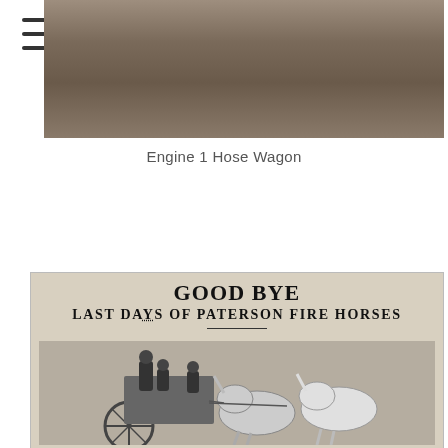[Figure (photo): Top portion of a photograph, appears to show an outdoor scene, partially cropped at top of page]
Engine 1 Hose Wagon
[Figure (photo): Newspaper clipping with headline 'GOOD BYE / LAST DAYS OF PATERSON FIRE HORSES' and a black-and-white photograph of a horse-drawn fire wagon with uniformed firefighters and two white horses]